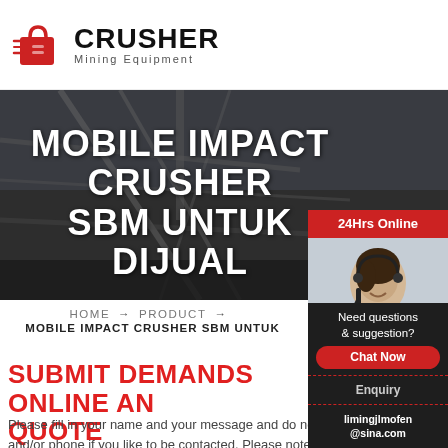CRUSHER Mining Equipment
[Figure (photo): Industrial mining equipment / crane structure background hero image with text overlay: MOBILE IMPACT CRUSHER SBM UNTUK DIJUAL]
MOBILE IMPACT CRUSHER SBM UNTUK DIJUAL
HOME → PRODUCT → MOBILE IMPACT CRUSHER SBM UNTUK DIJUAL
SUBMIT DEMANDS ONLINE AND GET A QUOTE
Please fill in your name and your message and do not forget mail and/or phone if you like to be contacted. Please note that you do not need to have a mail programme to use this function.
[Figure (photo): Customer service representative woman with headset smiling, with 24Hrs Online label, Need questions & suggestion text, Chat Now button, Enquiry section, and limingjlmofen@sina.com email]